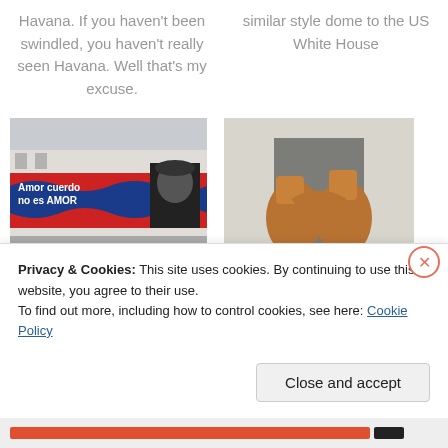Havana. If you haven't been swindled, you haven't really seen Havana. Well that's my excuse.
similar style dome to the US White House
[Figure (photo): Mural on a wall reading 'Amor cuerdo no es Amor' with Che Guevara portrait, blue and red waves]
[Figure (photo): Bronze sculpture of two figures with abstract faces, seated and facing each other, Plaza San Francisco de Asis]
Amor cuerdo no es amor – Love is not love sane
Plaza San Francisco de
Privacy & Cookies: This site uses cookies. By continuing to use this website, you agree to their use.
To find out more, including how to control cookies, see here: Cookie Policy
Close and accept